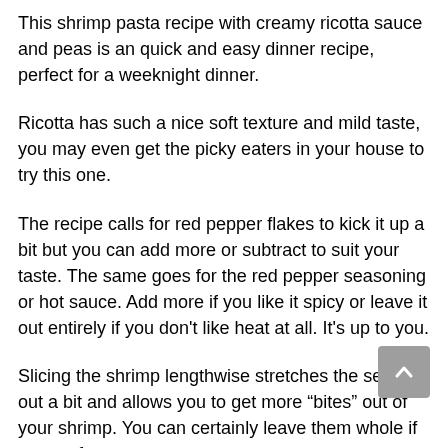This shrimp pasta recipe with creamy ricotta sauce and peas is an quick and easy dinner recipe, perfect for a weeknight dinner.
Ricotta has such a nice soft texture and mild taste, you may even get the picky eaters in your house to try this one.
The recipe calls for red pepper flakes to kick it up a bit but you can add more or subtract to suit your taste. The same goes for the red pepper seasoning or hot sauce. Add more if you like it spicy or leave it out entirely if you don’t like heat at all. It’s up to you.
Slicing the shrimp lengthwise stretches the seafood out a bit and allows you to get more “bites” out of your shrimp. You can certainly leave them whole if you prefer.
This pasta recipe is not only easy and quick to make, it’s also a healthy dinner recipe. The only way I could think of